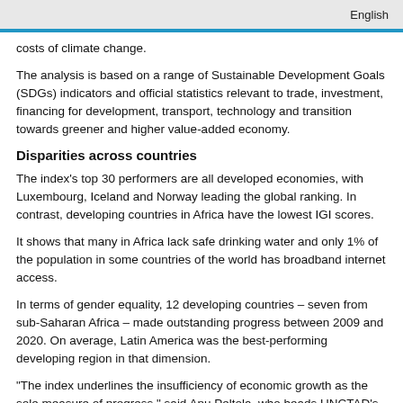English
costs of climate change.
The analysis is based on a range of Sustainable Development Goals (SDGs) indicators and official statistics relevant to trade, investment, financing for development, transport, technology and transition towards greener and higher value-added economy.
Disparities across countries
The index’s top 30 performers are all developed economies, with Luxembourg, Iceland and Norway leading the global ranking. In contrast, developing countries in Africa have the lowest IGI scores.
It shows that many in Africa lack safe drinking water and only 1% of the population in some countries of the world has broadband internet access.
In terms of gender equality, 12 developing countries – seven from sub-Saharan Africa – made outstanding progress between 2009 and 2020. On average, Latin America was the best-performing developing region in that dimension.
“The index underlines the insufficiency of economic growth as the sole measure of progress,” said Anu Peltola, who heads UNCTAD’s statistics work.